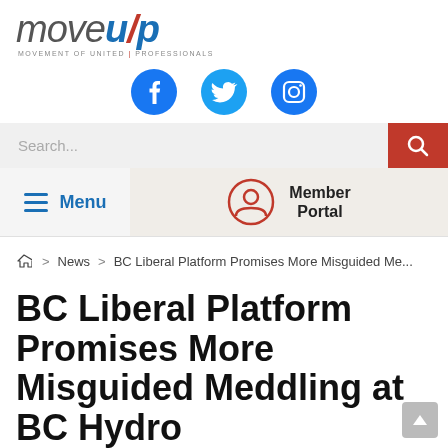[Figure (logo): MoveUP - Movement of United Professionals logo with blue and red styling]
[Figure (infographic): Social media icons: Facebook, Twitter, Instagram in blue]
[Figure (infographic): Search bar with red search button]
[Figure (infographic): Menu button and Member Portal button in navigation row]
Home > News > BC Liberal Platform Promises More Misguided Me...
BC Liberal Platform Promises More Misguided Meddling at BC Hydro